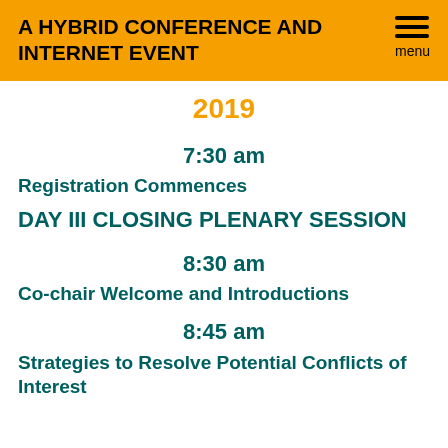A HYBRID CONFERENCE AND INTERNET EVENT
2019
7:30 am
Registration Commences
DAY III CLOSING PLENARY SESSION
8:30 am
Co-chair Welcome and Introductions
8:45 am
Strategies to Resolve Potential Conflicts of Interest